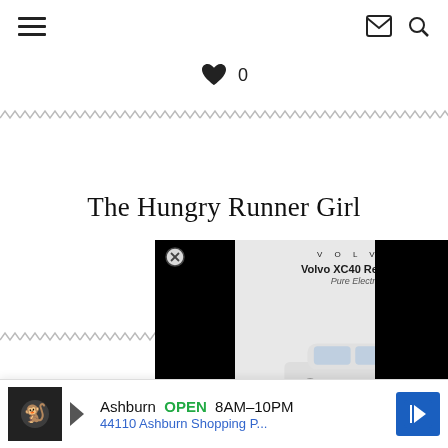Navigation bar with hamburger menu, mail icon, and search icon
[Figure (other): Heart/like icon with count 0]
[Figure (other): Decorative zigzag/chevron border pattern across full width]
The Hungry Runner Girl
[Figure (other): Advertisement overlay: Volvo XC40 Recharge Pure Electric ad with car image, color selectors, and order now button, partially obscured by black bars on left and right]
[Figure (other): Decorative zigzag/chevron border pattern on left side]
PREVIOUS
BYU W...
[Figure (other): Bottom banner advertisement: Ashburn OPEN 8AM-10PM, 44110 Ashburn Shopping P... with navigation arrow icon]